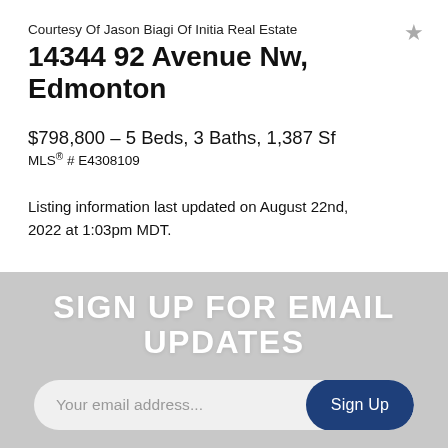Courtesy Of Jason Biagi Of Initia Real Estate
14344 92 Avenue Nw, Edmonton
$798,800 - 5 Beds, 3 Baths, 1,387 Sf
MLS® # E4308109
Listing information last updated on August 22nd, 2022 at 1:03pm MDT.
SIGN UP FOR EMAIL UPDATES
Your email address...
Sign Up